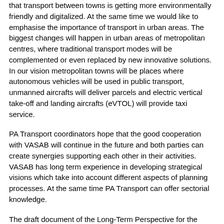that transport between towns is getting more environmentally friendly and digitalized. At the same time we would like to emphasise the importance of transport in urban areas. The biggest changes will happen in urban areas of metropolitan centres, where traditional transport modes will be complemented or even replaced by new innovative solutions. In our vision metropolitan towns will be places where autonomous vehicles will be used in public transport, unmanned aircrafts will deliver parcels and electric vertical take-off and landing aircrafts (eVTOL) will provide taxi service.
PA Transport coordinators hope that the good cooperation with VASAB will continue in the future and both parties can create synergies supporting each other in their activities. VASAB has long term experience in developing strategical visions which take into account different aspects of planning processes. At the same time PA Transport can offer sectorial knowledge.
The draft document of the Long-Term Perspective for the Territorial Development of the Baltic Sea Region can be read here.